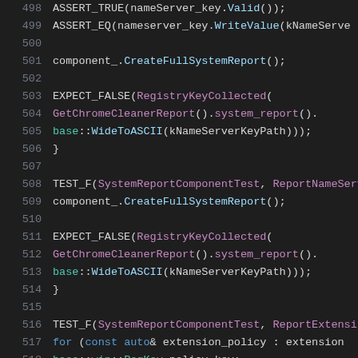Code listing lines 498-519, C++ unit test source code
498     ASSERT_TRUE(nameServer_key.Valid());
499     ASSERT_EQ(nameserver_key.WriteValue(kNameServe
500
501     component_.CreateFullSystemReport();
502
503     EXPECT_FALSE(RegistryKeyCollected(
504         GetChromeCleanerReport().system_report().
505         base::WideToASCII(kNameServerKeyPath)));
506 }
507
508 TEST_F(SystemReportComponentTest, ReportNameServ
509     component_.CreateFullSystemReport();
510
511     EXPECT_FALSE(RegistryKeyCollected(
512         GetChromeCleanerReport().system_report().
513         base::WideToASCII(kNameServerKeyPath)));
514 }
515
516 TEST_F(SystemReportComponentTest, ReportExtensi
517     for (const auto& extension_policy : extension
518         base::win::RegKey policy_key;
519     ASSERT_EQ(ERROR_SUCCESS,